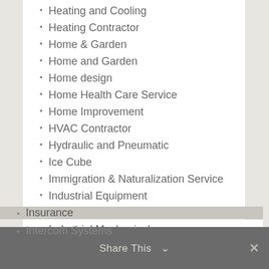Heating and Cooling
Heating Contractor
Home & Garden
Home and Garden
Home design
Home Health Care Service
Home Improvement
HVAC Contractor
Hydraulic and Pneumatic
Ice Cube
Immigration & Naturalization Service
Industrial Equipment
Industrial Goods and Services
Industrial Mechanical
Industrial Supplies
Insurance
Intercom Systems
Share This ∨  ✕